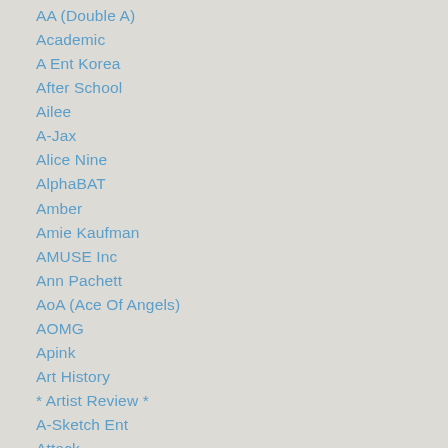AA (Double A)
Academic
A Ent Korea
After School
Ailee
A-Jax
Alice Nine
AlphaBAT
Amber
Amie Kaufman
AMUSE Inc
Ann Pachett
AoA (Ace Of Angels)
AOMG
Apink
Art History
* Artist Review *
A-Sketch Ent
Attack
Audience: Adult
Audience: New Adult
Audience: Young Adult